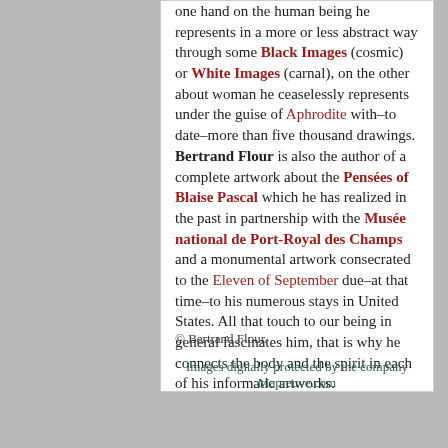one hand on the human being he represents in a more or less abstract way through some Black Images (cosmic) or White Images (carnal), on the other about woman he ceaselessly represents under the guise of Aphrodite with–to date–more than five thousand drawings. Bertrand Flour is also the author of a complete artwork about the Pensées of Blaise Pascal which he has realized in the past in partnership with the Musée national de Port-Royal des Champs and a monumental artwork consecrated to the Eleven of September due–at that time–to his numerous stays in United States. All that touch to our being in general fascinates him, that is why he connects the body and the spirit in each of his informatic artworks.
© Bertrand Flour.
Images digitally protected by the company Mapreuve.com